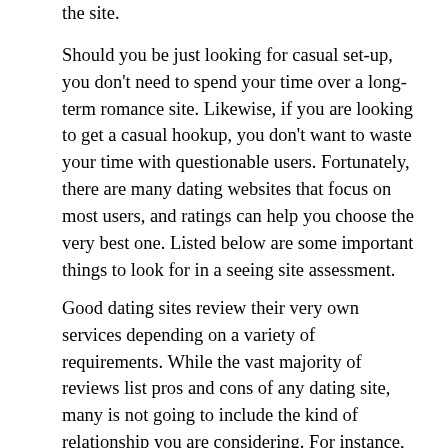the site.
Should you be just looking for casual set-up, you don't need to spend your time over a long-term romance site. Likewise, if you are looking to get a casual hookup, you don't want to waste your time with questionable users. Fortunately, there are many dating websites that focus on most users, and ratings can help you choose the very best one. Listed below are some important things to look for in a seeing site assessment.
Good dating sites review their very own services depending on a variety of requirements. While the vast majority of reviews list pros and cons of any dating site, many is not going to include the kind of relationship you are considering. For instance, a superb dating internet site may list a customer's requirements and list the benefits and